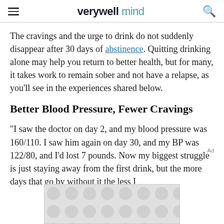verywell mind
The cravings and the urge to drink do not suddenly disappear after 30 days of abstinence. Quitting drinking alone may help you return to better health, but for many, it takes work to remain sober and not have a relapse, as you'll see in the experiences shared below.
Better Blood Pressure, Fewer Cravings
"I saw the doctor on day 2, and my blood pressure was 160/110. I saw him again on day 30, and my BP was 122/80, and I'd lost 7 pounds. Now my biggest struggle is just staying away from the first drink, but the more days that go by without it the less I